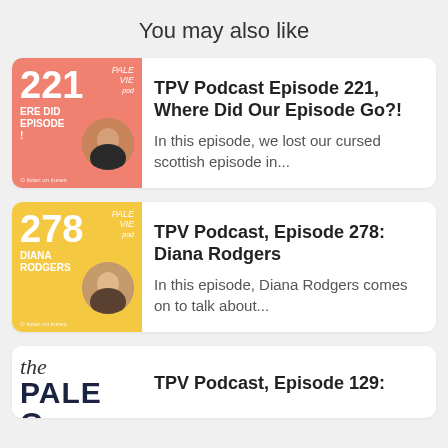You may also like
[Figure (other): Podcast thumbnail for TPV Episode 221, salmon/coral colored with number 221 and circular portrait photo]
TPV Podcast Episode 221, Where Did Our Episode Go?!
In this episode, we lost our cursed scottish episode in...
[Figure (other): Podcast thumbnail for TPV Episode 278 Diana Rodgers, yellow colored with number 278 and circular portrait photo]
TPV Podcast, Episode 278: Diana Rodgers
In this episode, Diana Rodgers comes on to talk about...
[Figure (other): Podcast thumbnail for TPV Episode 129, white with 'the paleo' text]
TPV Podcast, Episode 129: